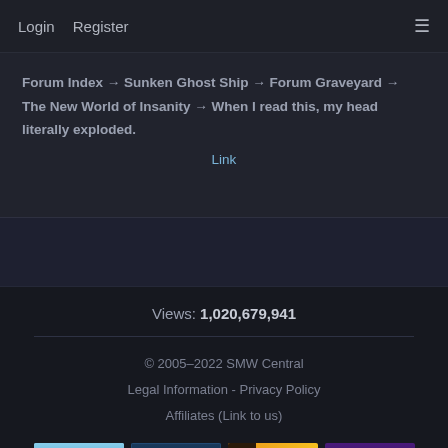Login  Register  ≡
Forum Index → Sunken Ghost Ship → Forum Graveyard → The New World of Insanity → When I read this, my head literally exploded.
Link
Views: 1,020,679,941
© 2005–2022 SMW Central
Legal Information - Privacy Policy
Affiliates (Link to us)
[Figure (logo): Four affiliate banner logos: Super Mario Bros. X, RHON romhacking.net, MFGG, SM64 romhacks.com]